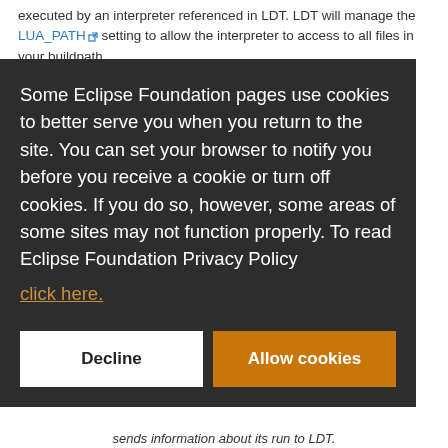executed by an interpreter referenced in LDT. LDT will manage the LUA_PATH setting to allow the interpreter to access to all files in your buildpath.
Concepts Buildpath
Concepts Interpreters
Configure a Local Debug session
Some Eclipse Foundation pages use cookies to better serve you when you return to the site. You can set your browser to notify you before you receive a cookie or turn off cookies. If you do so, however, some areas of some sites may not function properly. To read Eclipse Foundation Privacy Policy click here.
Decline
Allow cookies
sends information about its run to LDT.